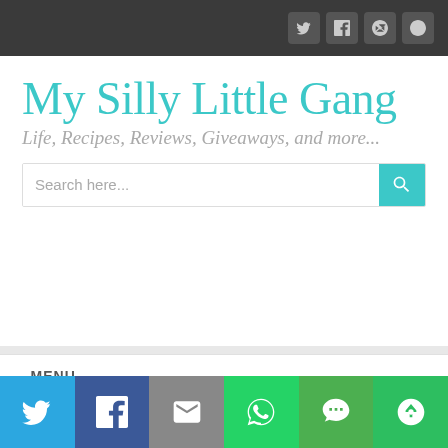My Silly Little Gang — social icons header bar
My Silly Little Gang
Life, Recipes, Reviews, Giveaways, and more...
Search here...
- MENU -
Join Us On Turn It Up Tuesday #173
Share bar: Twitter, Facebook, Email, WhatsApp, SMS, More